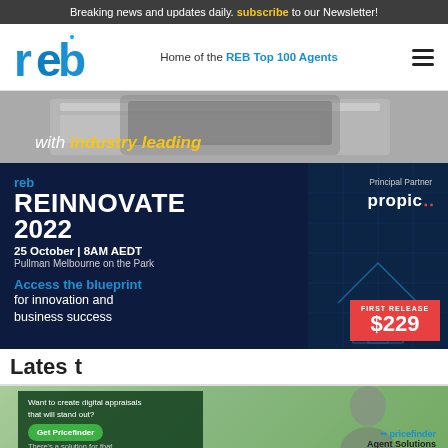Breaking news and updates daily. subscribe to our Newsletter!
[Figure (logo): REB logo - blue letters 'reb' with stylized design]
Home of the REB Top 100 Agents
[Figure (photo): Screenshot or interface image with text 'with industry leading']
[Figure (infographic): REB Reinnovate 2022 event banner. Principal Partner: Propic. 25 October | 8AM AEDT, Pullman Melbourne on the Park. Access the blueprint for innovation and business success. First Release $229.]
Latest
[Figure (photo): Photo of person with green background. Ad overlay: 'Want to create digital appraisals that will stand out? There's a solution for that.' Get Pricefinder button. Pricefinder Agent Solutions logo.]